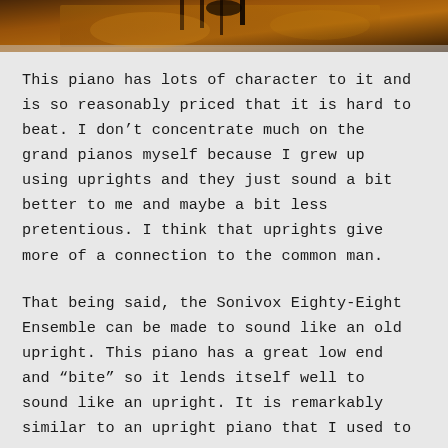[Figure (photo): A warm-toned photograph showing what appears to be a piano or musical instrument scene with amber/golden lighting and dark tones, partially visible at the top of the page.]
This piano has lots of character to it and is so reasonably priced that it is hard to beat. I don't concentrate much on the grand pianos myself because I grew up using uprights and they just sound a bit better to me and maybe a bit less pretentious. I think that uprights give more of a connection to the common man.
That being said, the Sonivox Eighty-Eight Ensemble can be made to sound like an old upright. This piano has a great low end and “bite” so it lends itself well to sound like an upright. It is remarkably similar to an upright piano that I used to